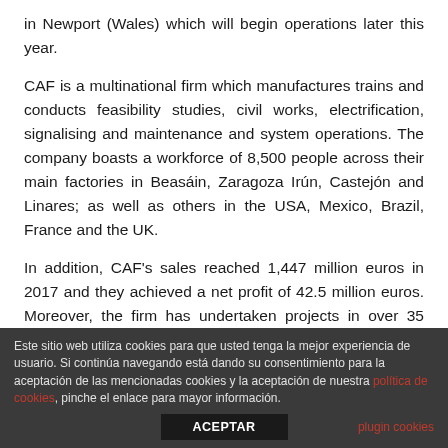in Newport (Wales) which will begin operations later this year.
CAF is a multinational firm which manufactures trains and conducts feasibility studies, civil works, electrification, signalising and maintenance and system operations. The company boasts a workforce of 8,500 people across their main factories in Beasáin, Zaragoza Irún, Castejón and Linares; as well as others in the USA, Mexico, Brazil, France and the UK.
In addition, CAF's sales reached 1,447 million euros in 2017 and they achieved a net profit of 42.5 million euros. Moreover, the firm has undertaken projects in over 35 countries
Este sitio web utiliza cookies para que usted tenga la mejor experiencia de usuario. Si continúa navegando está dando su consentimiento para la aceptación de las mencionadas cookies y la aceptación de nuestra política de cookies, pinche el enlace para mayor información. ACEPTAR plugin cookies